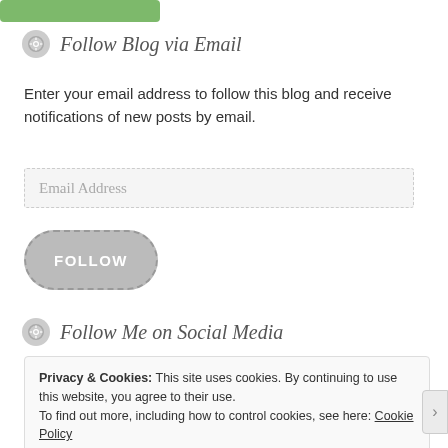[Figure (other): Green button/banner at top of page, partially cropped]
Follow Blog via Email
Enter your email address to follow this blog and receive notifications of new posts by email.
[Figure (other): Email Address input field with dashed border]
[Figure (other): FOLLOW button, rounded grey with dashed border]
Follow Me on Social Media
Privacy & Cookies: This site uses cookies. By continuing to use this website, you agree to their use.
To find out more, including how to control cookies, see here: Cookie Policy
[Figure (other): Close and accept button]